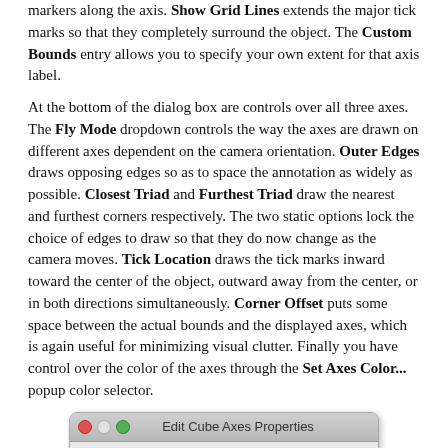markers along the axis. Show Grid Lines extends the major tick marks so that they completely surround the object. The Custom Bounds entry allows you to specify your own extent for that axis label.
At the bottom of the dialog box are controls over all three axes. The Fly Mode dropdown controls the way the axes are drawn on different axes dependent on the camera orientation. Outer Edges draws opposing edges so as to space the annotation as widely as possible. Closest Triad and Furthest Triad draw the nearest and furthest corners respectively. The two static options lock the choice of edges to draw so that they do now change as the camera moves. Tick Location draws the tick marks inward toward the center of the object, outward away from the center, or in both directions simultaneously. Corner Offset puts some space between the actual bounds and the displayed axes, which is again useful for minimizing visual clutter. Finally you have control over the color of the axes through the Set Axes Color... popup color selector.
[Figure (screenshot): Edit Cube Axes Properties dialog box showing X Axis, Y Axis, Z Axis tabs. X Axis tab is active, showing Title field with 'X-Axis' text, a checked checkbox, and a Show Axis option with checked checkbox.]